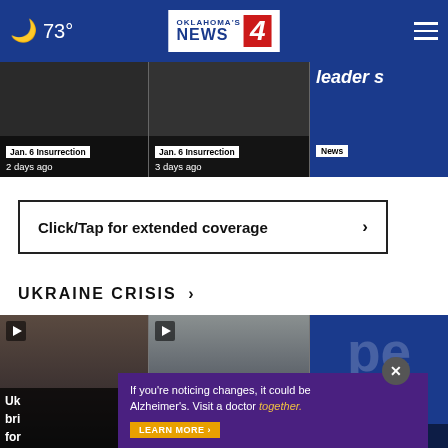73° Oklahoma's News 4
Jan. 6 Insurrection
2 days ago
Jan. 6 Insurrection
3 days ago
leader s
News
Click/Tap for extended coverage ›
UKRAINE CRISIS ›
[Figure (photo): Ukrainian woman portrait, video thumbnail]
[Figure (photo): Missile or rocket launch, video thumbnail]
[Figure (photo): Blue building partial, partially visible]
Uk... bri... for... ting...
fightin...
Compar...
If you're noticing changes, it could be Alzheimer's. Visit a doctor together.
LEARN MORE ›